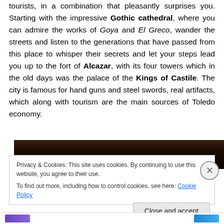tourists, in a combination that pleasantly surprises you. Starting with the impressive Gothic cathedral, where you can admire the works of Goya and El Greco, wander the streets and listen to the generations that have passed from this place to whisper their secrets and let your steps lead you up to the fort of Alcazar, with its four towers which in the old days was the palace of the Kings of Castile. The city is famous for hand guns and steel swords, real artifacts, which along with tourism are the main sources of Toledo economy.
[Figure (photo): Partial view of a dark photograph, heavily shadowed, showing what appears to be an architectural or interior scene.]
Privacy & Cookies: This site uses cookies. By continuing to use this website, you agree to their use.
To find out more, including how to control cookies, see here: Cookie Policy
Close and accept